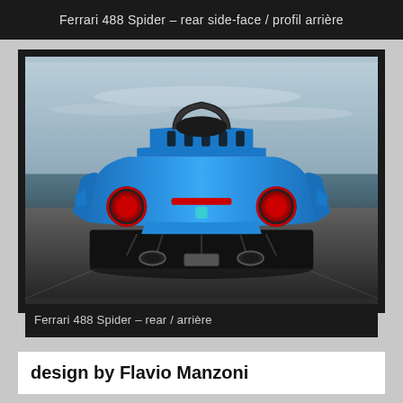Ferrari 488 Spider – rear side-face / profil arrière
[Figure (photo): Ferrari 488 Spider photographed from the rear, shown in blue against a grey sky background. The car's rear end is clearly visible with round red-ringed taillights, dual exhaust pipes, a black diffuser, and the '488 Spider' badge on the rear panel.]
Ferrari 488 Spider – rear / arrière
design by Flavio Manzoni